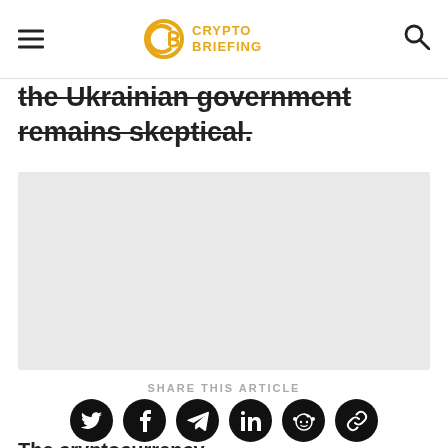Crypto Briefing
the Ukrainian government remains skeptical.
[Figure (photo): Gray placeholder image block]
SHARE THIS ARTICLE
[Figure (infographic): Social share icons: Twitter, Facebook, Telegram, LinkedIn, Reddit, Link]
The cryptocurrency...